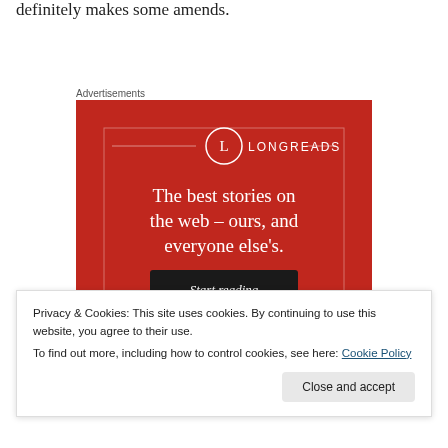definitely makes some amends.
Advertisements
[Figure (illustration): Longreads advertisement banner on red background with white circle logo containing letter L, text 'The best stories on the web – ours, and everyone else's.' and a black 'Start reading' button.]
Privacy & Cookies: This site uses cookies. By continuing to use this website, you agree to their use.
To find out more, including how to control cookies, see here: Cookie Policy
Close and accept